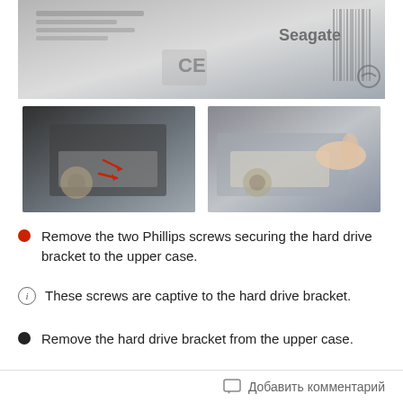[Figure (photo): Close-up of a Seagate hard drive label showing certification marks and barcodes]
[Figure (photo): Hard drive being removed from laptop bracket, two sub-images side by side: left shows hard drive in bracket with red arrows, right shows hand pulling hard drive out]
Remove the two Phillips screws securing the hard drive bracket to the upper case.
These screws are captive to the hard drive bracket.
Remove the hard drive bracket from the upper case.
Добавить комментарий